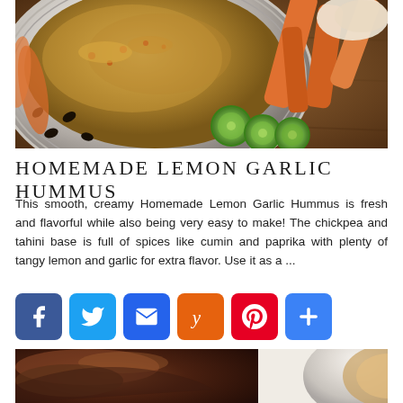[Figure (photo): A white ceramic bowl filled with homemade hummus topped with spices, surrounded by carrots, cucumber slices, and sunflower seeds on a wooden board.]
HOMEMADE LEMON GARLIC HUMMUS
This smooth, creamy Homemade Lemon Garlic Hummus is fresh and flavorful while also being very easy to make! The chickpea and tahini base is full of spices like cumin and paprika with plenty of tangy lemon and garlic for extra flavor. Use it as a ...
[Figure (infographic): Social sharing buttons: Facebook (blue), Twitter (light blue), Email (blue), Yummly (orange), Pinterest (red), More/Plus (blue)]
[Figure (photo): Partial view of a second food photo at the bottom of the page showing a dark food item on the left and a white bowl on the right.]